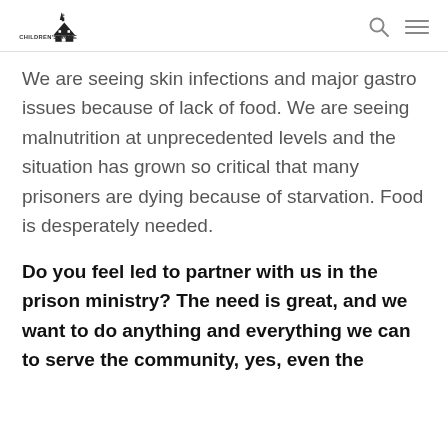Children's Hope [logo]
We are seeing skin infections and major gastro issues because of lack of food. We are seeing malnutrition at unprecedented levels and the situation has grown so critical that many prisoners are dying because of starvation. Food is desperately needed.
Do you feel led to partner with us in the prison ministry? The need is great, and we want to do anything and everything we can to serve the community, yes, even the